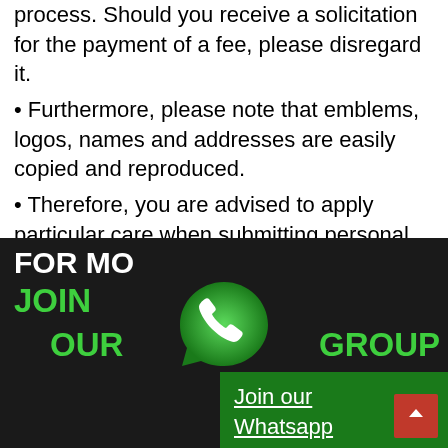process. Should you receive a solicitation for the payment of a fee, please disregard it.
• Furthermore, please note that emblems, logos, names and addresses are easily copied and reproduced.
• Therefore, you are advised to apply particular care when submitting personal information on the web
• Only shortlisted candidates will be invited for interview or the process.
[Figure (screenshot): Green popup overlay with underlined white text reading 'Join our Whatsapp Group']
[Figure (infographic): Dark banner with text FOR MO[RE], JOIN OUR GROUP in green and white, with WhatsApp logo icon in the center]